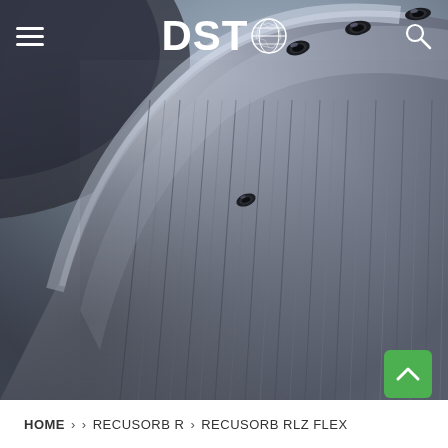[Figure (photo): Close-up macro photograph of a metallic disc or rotor component (likely a brake disc or industrial disk), showing fine parallel grooves and surface texture. Several small dark holes/slots are visible at the top edge of the disc. The surface has a bluish-gray metallic sheen with detailed linear striations across the curved face.]
DST® [logo with globe icon] [hamburger menu] [search icon]
HOME › › RECUSORB R › RECUSORB RLZ FLEX